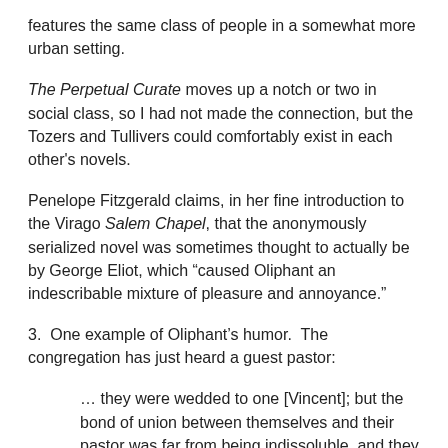features the same class of people in a somewhat more urban setting.
The Perpetual Curate moves up a notch or two in social class, so I had not made the connection, but the Tozers and Tullivers could comfortably exist in each other's novels.
Penelope Fitzgerald claims, in her fine introduction to the Virago Salem Chapel, that the anonymously serialized novel was sometimes thought to actually be by George Eliot, which “caused Oliphant an indescribable mixture of pleasure and annoyance.”
3.  One example of Oliphant’s humor.  The congregation has just heard a guest pastor:
… they were wedded to one [Vincent]; but the bond of union between themselves and their pastor was far from being indissoluble, and they contemplated this new aspirant to their favour with feelings stimulated and piquant, as a not inconsolable husband, likely to become a